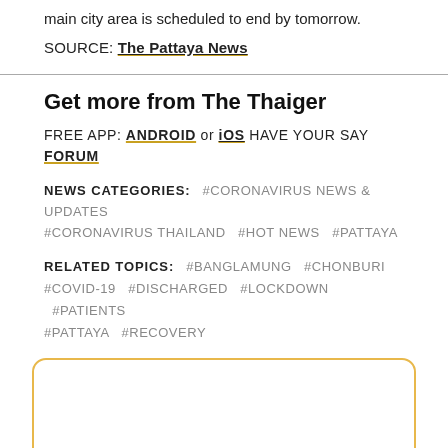main city area is scheduled to end by tomorrow.
SOURCE: The Pattaya News
Get more from The Thaiger
FREE APP: ANDROID or iOS HAVE YOUR SAY FORUM
NEWS CATEGORIES: #CORONAVIRUS NEWS & UPDATES #CORONAVIRUS THAILAND #HOT NEWS #PATTAYA
RELATED TOPICS: #BANGLAMUNG #CHONBURI #COVID-19 #DISCHARGED #LOCKDOWN #PATIENTS #PATTAYA #RECOVERY
[Figure (other): Empty bordered box with rounded corners and gold/yellow border]